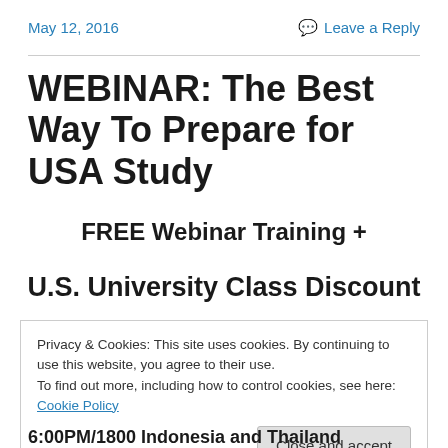May 12, 2016   Leave a Reply
WEBINAR: The Best Way To Prepare for USA Study
FREE Webinar Training +
U.S. University Class Discount
Privacy & Cookies: This site uses cookies. By continuing to use this website, you agree to their use.
To find out more, including how to control cookies, see here: Cookie Policy
Close and accept
6:00PM/1800 Indonesia and Thailand